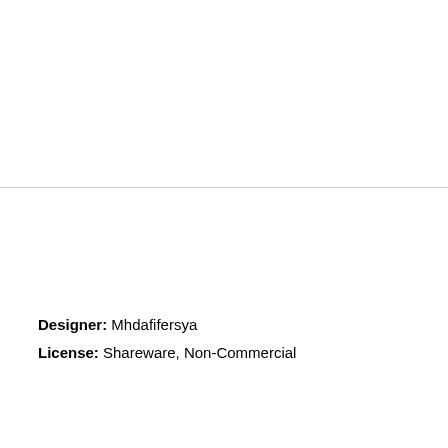Designer: Mhdafifersya
License: Shareware, Non-Commercial